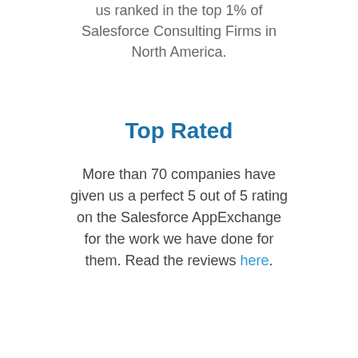us ranked in the top 1% of Salesforce Consulting Firms in North America.
Top Rated
More than 70 companies have given us a perfect 5 out of 5 rating on the Salesforce AppExchange for the work we have done for them. Read the reviews here.